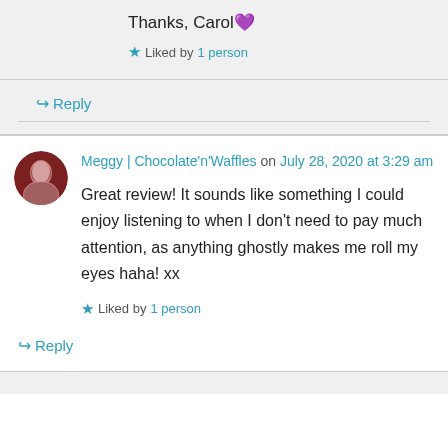Thanks, Carol 💜
★ Liked by 1 person
↳ Reply
Meggy | Chocolate'n'Waffles on July 28, 2020 at 3:29 am
Great review! It sounds like something I could enjoy listening to when I don't need to pay much attention, as anything ghostly makes me roll my eyes haha! xx
★ Liked by 1 person
↳ Reply